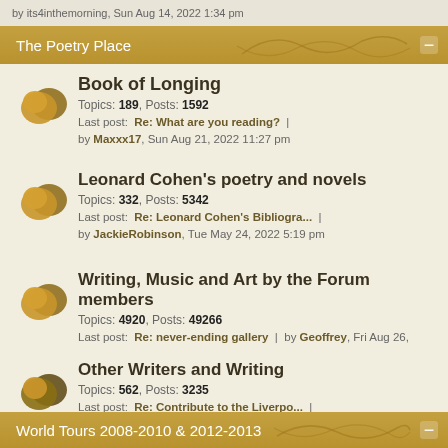by its4inthemorning, Sun Aug 14, 2022 1:34 pm
The Poetry Place
Book of Longing
Topics: 189, Posts: 1592
Last post: Re: What are you reading? | by Maxxx17, Sun Aug 21, 2022 11:27 pm
Leonard Cohen's poetry and novels
Topics: 332, Posts: 5342
Last post: Re: Leonard Cohen's Bibliogra... | by JackieRobinson, Tue May 24, 2022 5:19 pm
Writing, Music and Art by the Forum members
Topics: 4920, Posts: 49266
Last post: Re: never-ending gallery | by Geoffrey, Fri Aug 26, 2022 1:11 pm
Other Writers and Writing
Topics: 562, Posts: 3235
Last post: Re: Contribute to the Liverpo... | by fradi0, Fri Aug 05, 2022 9:52 am
World Tours 2008-2010 & 2012-2013